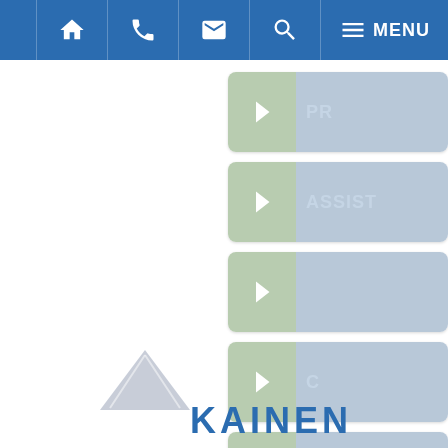[Figure (screenshot): Website navigation bar with home, phone, email, search icons and MENU text on blue background]
[Figure (screenshot): Right-side navigation buttons with green arrow icons and blue label areas, partially visible. One button shows 'ASSIST' text.]
[Figure (logo): Kainen company logo with building/triangle icon and KAINEN text in blue at the bottom of the page]